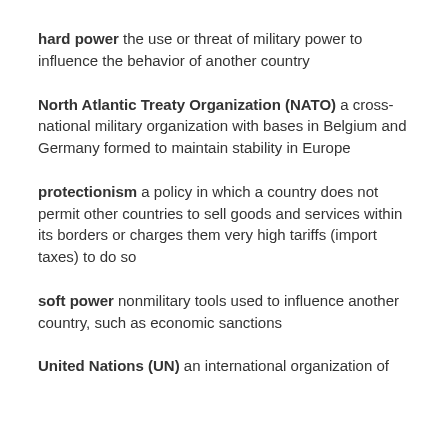hard power the use or threat of military power to influence the behavior of another country
North Atlantic Treaty Organization (NATO) a cross-national military organization with bases in Belgium and Germany formed to maintain stability in Europe
protectionism a policy in which a country does not permit other countries to sell goods and services within its borders or charges them very high tariffs (import taxes) to do so
soft power nonmilitary tools used to influence another country, such as economic sanctions
United Nations (UN) an international organization of